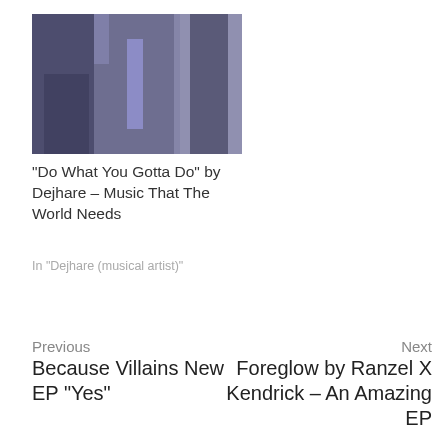[Figure (photo): Dark blue-toned stylized photo of figures, used as related post thumbnail]
“Do What You Gotta Do” by Dejhare – Music That The World Needs
In “Dejhare (musical artist)”
Previous
Because Villains New EP “Yes”
Next
Foreglow by Ranzel X Kendrick – An Amazing EP
MORE STORIES
[Figure (photo): Bottom image strip, appears to be a blue-toned landscape or abstract image]